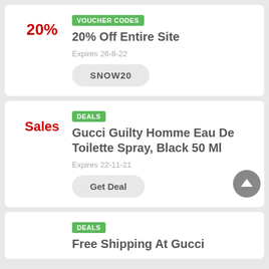VOUCHER CODES
20% Off Entire Site
20%
Expires 26-8-22
SNOW20
DEALS
Gucci Guilty Homme Eau De Toilette Spray, Black 50 Ml
Sales
Expires 22-11-21
Get Deal
DEALS
Free Shipping At Gucci